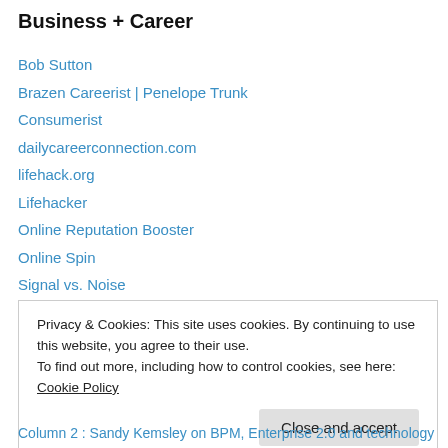Business + Career
Bob Sutton
Brazen Careerist | Penelope Trunk
Consumerist
dailycareerconnection.com
lifehack.org
Lifehacker
Online Reputation Booster
Online Spin
Signal vs. Noise
Stanley Bing
Steve Newberger
Privacy & Cookies: This site uses cookies. By continuing to use this website, you agree to their use.
To find out more, including how to control cookies, see here: Cookie Policy
Close and accept
Column 2 : Sandy Kemsley on BPM, Enterprise 2.0 and technology